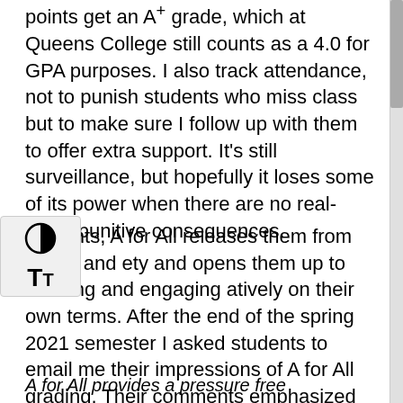points get an A+ grade, which at Queens College still counts as a 4.0 for GPA purposes. I also track attendance, not to punish students who miss class but to make sure I follow up with them to offer extra support. It's still surveillance, but hopefully it loses some of its power when there are no real-world punitive consequences.
students, A for All releases them from stress and ety and opens them up to learning and engaging atively on their own terms. After the end of the spring 2021 semester I asked students to email me their impressions of A for All grading. Their comments emphasized the “pressure free environment” (all quotes used with permission):
A for All provides a pressure free environment